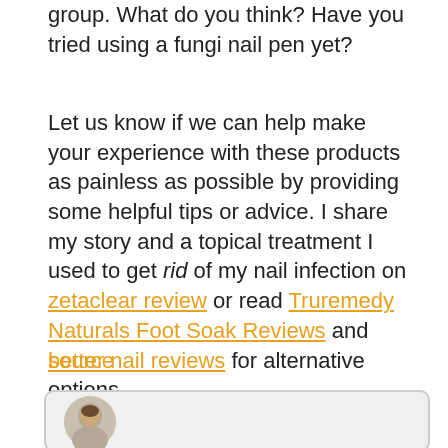group. What do you think? Have you tried using a fungi nail pen yet?
Let us know if we can help make your experience with these products as painless as possible by providing some helpful tips or advice. I share my story and a topical treatment I used to get rid of my nail infection on zetaclear review or read Truremedy Naturals Foot Soak Reviews and better nail reviews for alternative options.
source
[Figure (photo): Author profile photo in a rounded oval frame, showing a person's head and shoulders, displayed inside a light gray rounded rectangle card.]